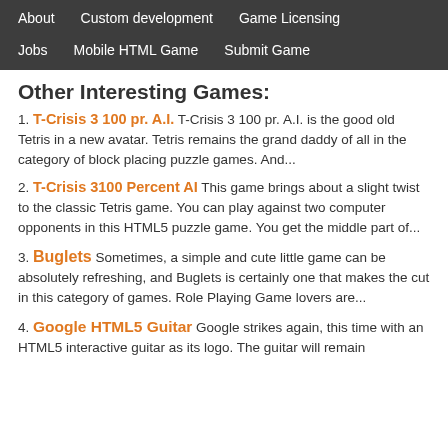About   Custom development   Game Licensing   Jobs   Mobile HTML Game   Submit Game
Other Interesting Games:
1. T-Crisis 3 100 pr. A.I. T-Crisis 3 100 pr. A.I. is the good old Tetris in a new avatar. Tetris remains the grand daddy of all in the category of block placing puzzle games. And...
2. T-Crisis 3100 Percent AI This game brings about a slight twist to the classic Tetris game. You can play against two computer opponents in this HTML5 puzzle game. You get the middle part of...
3. Buglets Sometimes, a simple and cute little game can be absolutely refreshing, and Buglets is certainly one that makes the cut in this category of games. Role Playing Game lovers are...
4. Google HTML5 Guitar Google strikes again, this time with an HTML5 interactive guitar as its logo. The guitar will remain